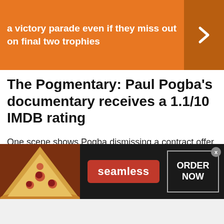a victory parade even if they miss out on final two trophies
The Pogmentary: Paul Pogba’s documentary receives a 1.1/10 IMDB rating
One scene shows Pogba dismissing a contract offer in excess of £300,000 a week as ‘nothing.’
[Figure (infographic): Seamless food delivery advertisement banner with pizza image on the left, seamless red logo in the centre, and ORDER NOW button on the right, with a dark background.]